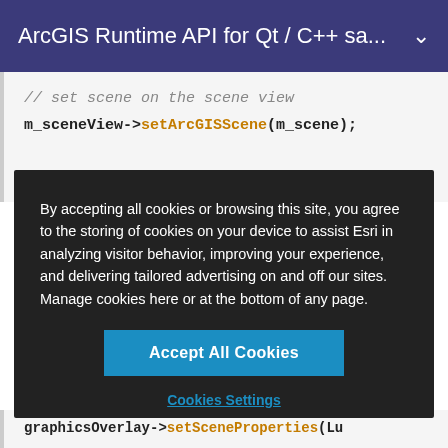ArcGIS Runtime API for Qt / C++ sa...
// set scene on the scene view
m_sceneView->setArcGISScene(m_scene);
By accepting all cookies or browsing this site, you agree to the storing of cookies on your device to assist Esri in analyzing visitor behavior, improving your experience, and delivering tailored advertising on and off our sites. Manage cookies here or at the bottom of any page.
Accept All Cookies
Cookies Settings
graphicsOverlay->setSceneProperties(Lu